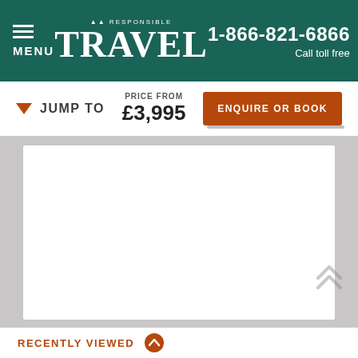MENU | RESPONSIBLE TRAVEL | 1-866-821-6866 Call toll free
JUMP TO | PRICE FROM £3,995 | ENQUIRE OR BOOK
[Figure (screenshot): White content panel area]
RECENTLY VIEWED